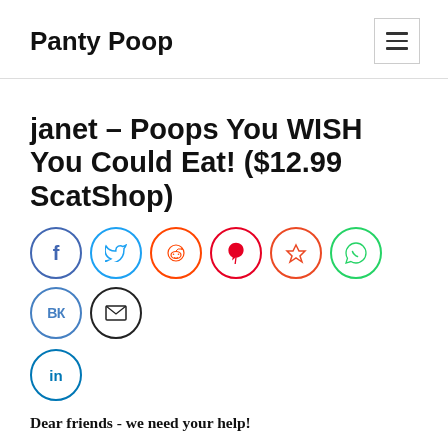Panty Poop
janet – Poops You WISH You Could Eat! ($12.99 ScatShop)
[Figure (other): Row of social media share icons: Facebook, Twitter, Reddit, Pinterest, StumbleUpon, WhatsApp, VK, Email, LinkedIn]
Dear friends - we need your help!
War has begun in our Ukraine and Russian soldiers are destroying everything in their way. Therefore, it was decided to evacuate from